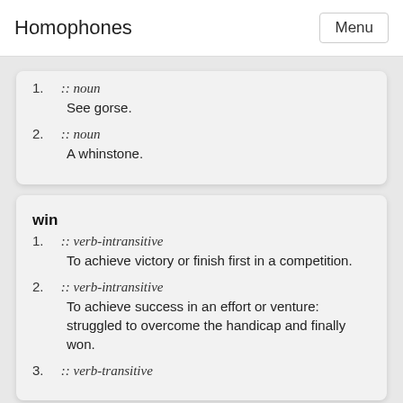Homophones
1. :: noun
See gorse.
2. :: noun
A whinstone.
win
1. :: verb-intransitive
To achieve victory or finish first in a competition.
2. :: verb-intransitive
To achieve success in an effort or venture: struggled to overcome the handicap and finally won.
3. :: verb-transitive